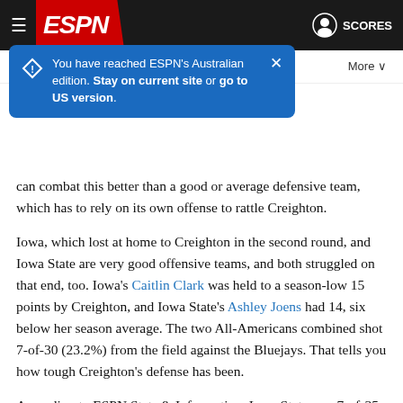ESPN header with hamburger menu, ESPN logo, user icon, SCORES
[Figure (screenshot): Blue tooltip/banner overlay: 'You have reached ESPN's Australian edition. Stay on current site or go to US version.' with close X button and warning diamond icon]
can combat this better than a good or average defensive team, which has to rely on its own offense to rattle Creighton.
Iowa, which lost at home to Creighton in the second round, and Iowa State are very good offensive teams, and both struggled on that end, too. Iowa's Caitlin Clark was held to a season-low 15 points by Creighton, and Iowa State's Ashley Joens had 14, six below her season average. The two All-Americans combined shot 7-of-30 (23.2%) from the field against the Bluejays. That tells you how tough Creighton's defense has been.
According to ESPN Stats & Information, Iowa State was 7-of-35 on contested attempts vs. Creighton. The Cyclones were